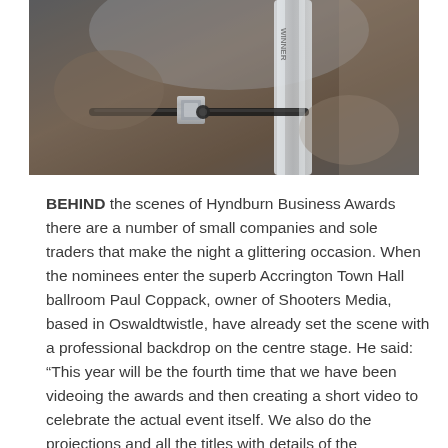[Figure (photo): Close-up photograph of hands holding or near an award trophy with 'WINNER' visible text, metallic surfaces, dark tones, blurred background.]
BEHIND the scenes of Hyndburn Business Awards there are a number of small companies and sole traders that make the night a glittering occasion. When the nominees enter the superb Accrington Town Hall ballroom Paul Coppack, owner of Shooters Media, based in Oswaldtwistle, have already set the scene with a professional backdrop on the centre stage. He said: “This year will be the fourth time that we have been videoing the awards and then creating a short video to celebrate the actual event itself. We also do the projections and all the titles with details of the